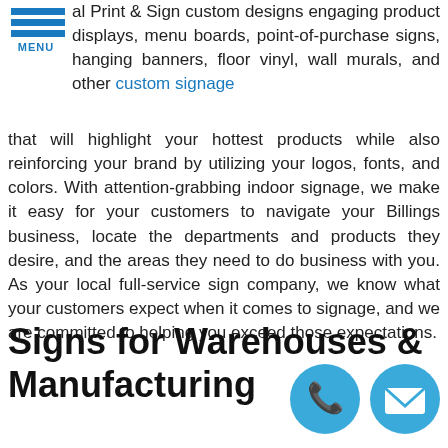[Figure (other): Hamburger menu icon with three blue horizontal bars and MENU label]
al Print & Sign custom designs engaging product displays, menu boards, point-of-purchase signs, hanging banners, floor vinyl, wall murals, and other custom signage that will highlight your hottest products while also reinforcing your brand by utilizing your logos, fonts, and colors. With attention-grabbing indoor signage, we make it easy for your customers to navigate your Billings business, locate the departments and products they desire, and the areas they need to do business with you. As your local full-service sign company, we know what your customers expect when it comes to signage, and we are committed to helping you exceed those expectations.
Signs for Warehouses & Manufacturing
[Figure (other): Two circular blue contact icons: phone handset icon and email envelope icon]